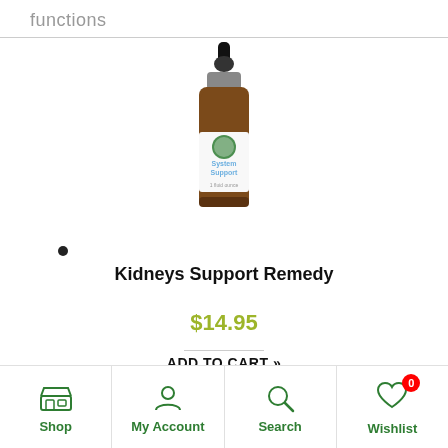functions
[Figure (photo): A brown glass dropper bottle with a white label reading 'System Support' and a green leaf logo]
Kidneys Support Remedy
$14.95
ADD TO CART »
Shop | My Account | Search | Wishlist (0)